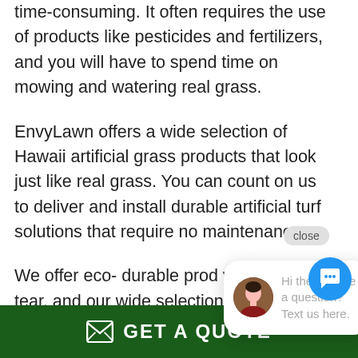time-consuming. It often requires the use of products like pesticides and fertilizers, and you will have to spend time on mowing and watering real grass.
EnvyLawn offers a wide selection of Hawaii artificial grass products that look just like real grass. You can count on us to deliver and install durable artificial turf solutions that require no maintenance.
We offer eco- durable prod wear and tear, and our wide selection of turf products ensures that you will find the ideal
[Figure (screenshot): Chat popup overlay with avatar photo of a woman and text 'Hi there, have a question? Text us here.' with a close button.]
GET A QUOTE